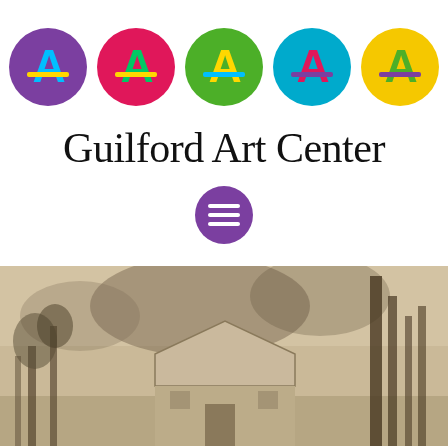[Figure (logo): Guilford Art Center logo: five colored circles each containing a stylized letter A with a horizontal bar, in purple, red/magenta, green, cyan/blue, and yellow]
Guilford Art Center
[Figure (illustration): Purple circular button with three white horizontal lines (hamburger/menu icon)]
[Figure (photo): Sepia-toned vintage photograph of a small building or barn surrounded by trees, with tall vertical elements on the right side]